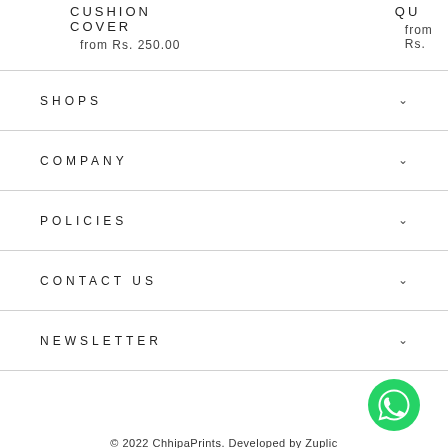CUSHION COVER
from Rs. 250.00
QU
from Rs.
SHOPS
COMPANY
POLICIES
CONTACT US
NEWSLETTER
[Figure (logo): WhatsApp green icon with phone handset symbol]
© 2022 ChhipaPrints. Developed by Zuplic